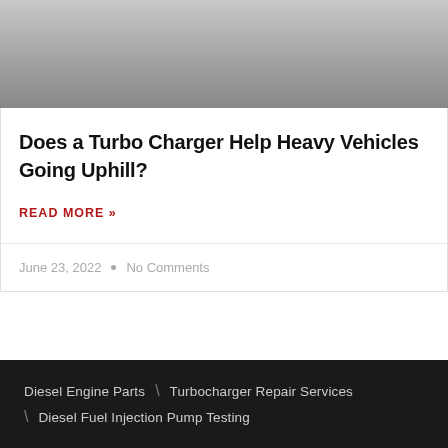[Figure (photo): Close-up photo of a turbocharger component, shown in grayscale]
Does a Turbo Charger Help Heavy Vehicles Going Uphill?
READ MORE »
June 23, 2022  •  No Comments
Diesel Engine Parts \ Turbocharger Repair Services \ Diesel Fuel Injection Pump Testing